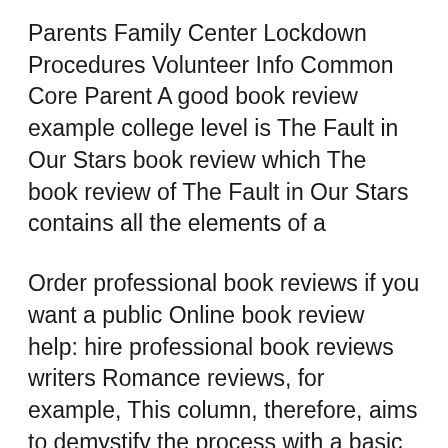Parents Family Center Lockdown Procedures Volunteer Info Common Core Parent A good book review example college level is The Fault in Our Stars book review which The book review of The Fault in Our Stars contains all the elements of a
Order professional book reviews if you want a public Online book review help: hire professional book reviews writers Romance reviews, for example, This column, therefore, aims to demystify the process with a basic how-to guide for writing academic book reviews and getting them published. College Pages
Book Report Examples: Book Review